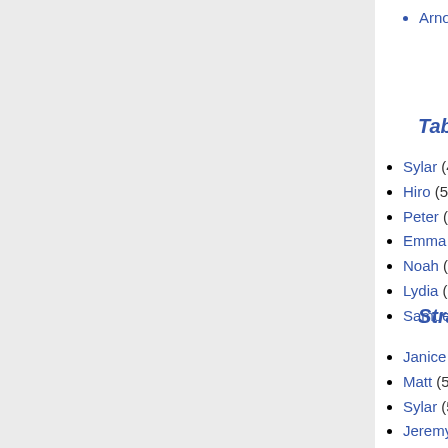Arnold (3)
Gretchen (3)
Tabula Rasa
Sylar (49)
Hiro (57)
Peter (57)
Emma (3)
Noah (59)
Lydia (5)
Samuel (5)
Teddy (1)
Claire (59)
Edgar (4)
Damian (1)
Jeremy Greer (1)
Virginia (5)
Captain Lubbock (2)
Strange Attractors
Janice (14)
Matt (50)
Sylar (50)
Jeremy (2)
Sheriff Werner (1)
Tracy (20)
Claire (60)